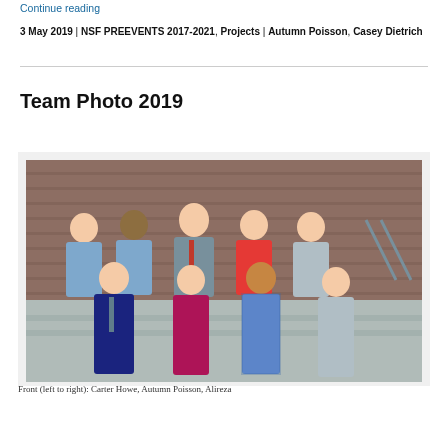Continue reading
3 May 2019 | NSF PREEVENTS 2017-2021, Projects | Autumn Poisson, Casey Dietrich
Team Photo 2019
[Figure (photo): Group photo of approximately 9 people (team members) posing in front of a building with brick wall background. Two rows: back row with 5 people, front row with 4 people. People are dressed professionally.]
Front (left to right): Carter Howe, Autumn Poisson, Alireza ...